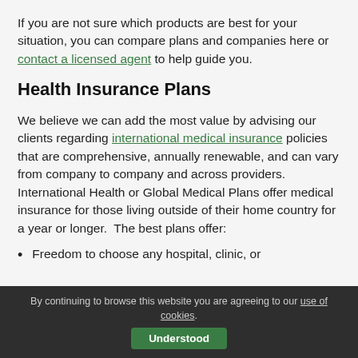If you are not sure which products are best for your situation, you can compare plans and companies here or contact a licensed agent to help guide you.
Health Insurance Plans
We believe we can add the most value by advising our clients regarding international medical insurance policies that are comprehensive, annually renewable, and can vary from company to company and across providers. International Health or Global Medical Plans offer medical insurance for those living outside of their home country for a year or longer.  The best plans offer:
Freedom to choose any hospital, clinic, or
By continuing to browse this website you are agreeing to our use of cookies.